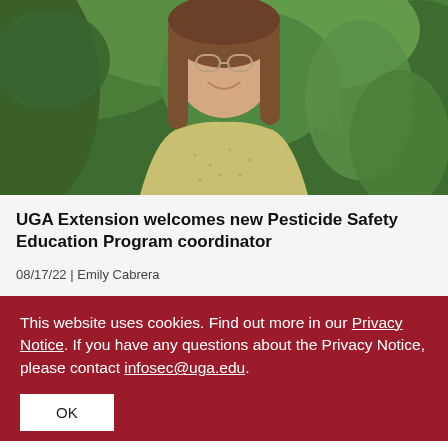[Figure (photo): Smiling young woman with long brown hair and glasses wearing a floral blazer, photographed outdoors in front of green leafy bushes.]
UGA Extension welcomes new Pesticide Safety Education Program coordinator
08/17/22 | Emily Cabrera
This website uses cookies. Find out more in our Privacy Notice. If you have any questions about the Privacy Notice, please contact infosec@uga.edu.
OK